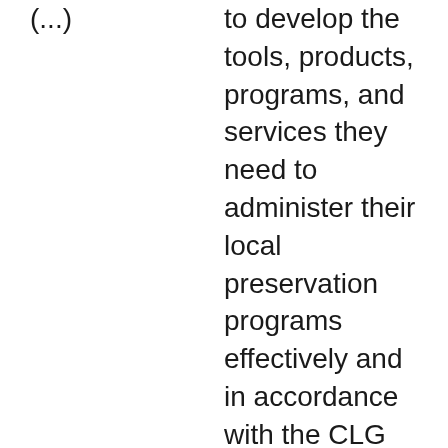(...)
to develop the tools, products, programs, and services they need to administer their local preservation programs effectively and in accordance with the CLG Guidelines and Procedures. Grant funds may be used to create standalone products or be leveraged to contribute to